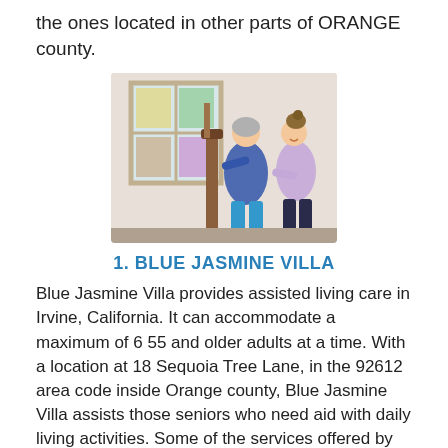the ones located in other parts of ORANGE county.
[Figure (photo): A caregiver in a lavender uniform helping an elderly woman walk down stairs with a wooden banister, indoors near a window with stained glass decorations.]
1. BLUE JASMINE VILLA
Blue Jasmine Villa provides assisted living care in Irvine, California. It can accommodate a maximum of 6 55 and older adults at a time. With a location at 18 Sequoia Tree Lane, in the 92612 area code inside Orange county, Blue Jasmine Villa assists those seniors who need aid with daily living activities. Some of the services offered by Blue Jasmine Villa include